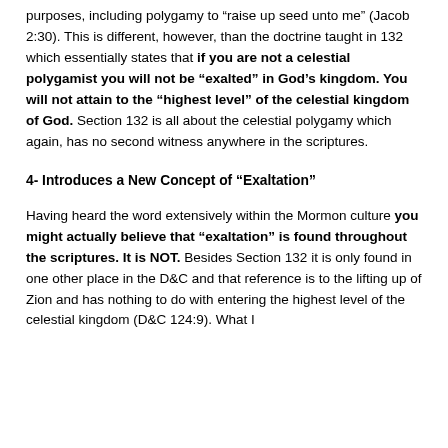purposes, including polygamy to “raise up seed unto me” (Jacob 2:30). This is different, however, than the doctrine taught in 132 which essentially states that if you are not a celestial polygamist you will not be “exalted” in God’s kingdom. You will not attain to the “highest level” of the celestial kingdom of God. Section 132 is all about the celestial polygamy which again, has no second witness anywhere in the scriptures.
4- Introduces a New Concept of “Exaltation”
Having heard the word extensively within the Mormon culture you might actually believe that “exaltation” is found throughout the scriptures. It is NOT. Besides Section 132 it is only found in one other place in the D&C and that reference is to the lifting up of Zion and has nothing to do with entering the highest level of the celestial kingdom (D&C 124:9). What I